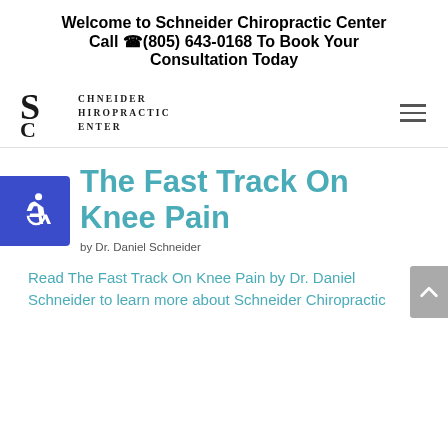Welcome to Schneider Chiropractic Center
Call (805) 643-0168 To Book Your Consultation Today
[Figure (logo): Schneider Chiropractic Center logo with stylized S, C letters]
The Fast Track On Knee Pain
by Dr. Daniel Schneider
Read The Fast Track On Knee Pain by Dr. Daniel Schneider to learn more about Schneider Chiropractic